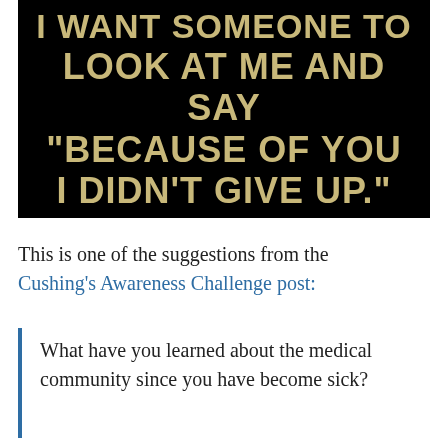[Figure (illustration): Black background motivational quote image with gold/tan bold text reading: I WANT SOMEONE TO LOOK AT ME AND SAY "BECAUSE OF YOU I DIDN'T GIVE UP."]
This is one of the suggestions from the Cushing's Awareness Challenge post:
What have you learned about the medical community since you have become sick?